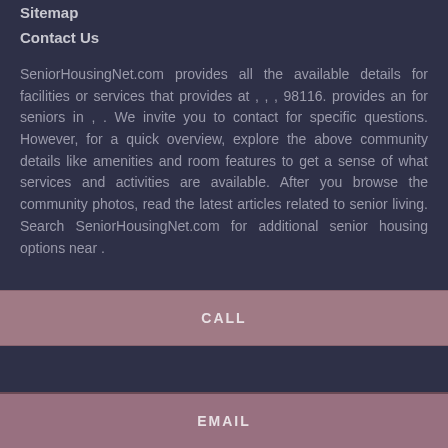Sitemap
Contact Us
SeniorHousingNet.com provides all the available details for facilities or services that provides at , , , 98116. provides an for seniors in , . We invite you to contact for specific questions. However, for a quick overview, explore the above community details like amenities and room features to get a sense of what services and activities are available. After you browse the community photos, read the latest articles related to senior living. Search SeniorHousingNet.com for additional senior housing options near .
CALL
EMAIL